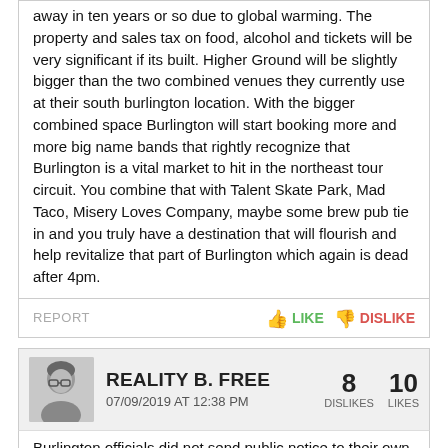away in ten years or so due to global warming. The property and sales tax on food, alcohol and tickets will be very significant if its built. Higher Ground will be slightly bigger than the two combined venues they currently use at their south burlington location. With the bigger combined space Burlington will start booking more and more big name bands that rightly recognize that Burlington is a vital market to hit in the northeast tour circuit. You combine that with Talent Skate Park, Mad Taco, Misery Loves Company, maybe some brew pub tie in and you truly have a destination that will flourish and help revitalize that part of Burlington which again is dead after 4pm.
REPORT | LIKE | DISLIKE
REALITY B. FREE
07/09/2019 AT 12:38 PM
8 DISLIKES  10 LIKES
Burlington officials did not send public notice to their own
[Figure (photo): Advertisement banner for Season Passes starting at $299, showing a skier on a snowy slope.]